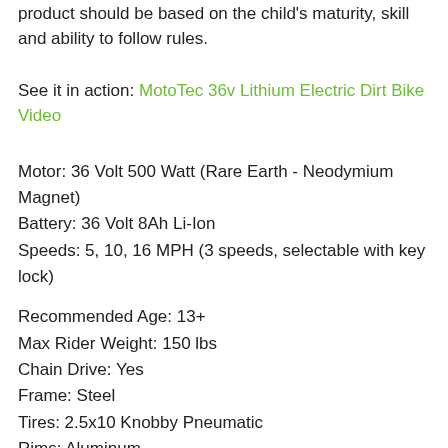product should be based on the child's maturity, skill and ability to follow rules.
See it in action: MotoTec 36v Lithium Electric Dirt Bike Video
Motor: 36 Volt 500 Watt (Rare Earth - Neodymium Magnet)
Battery: 36 Volt 8Ah Li-Ion
Speeds: 5, 10, 16 MPH (3 speeds, selectable with key lock)
Recommended Age: 13+
Max Rider Weight: 150 lbs
Chain Drive: Yes
Frame: Steel
Tires: 2.5x10 Knobby Pneumatic
Rims: Aluminum